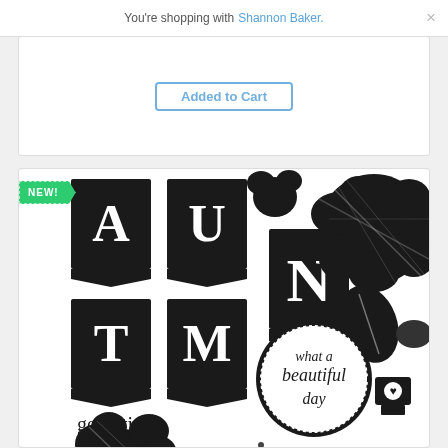You're shopping with Shannon Baker.
[Figure (screenshot): Top card area with Added to Cart button, partially visible]
[Figure (illustration): Autumn stamp set product image showing NEW! badge, banner letter stamps spelling AUTMN, floral stamps, leaf stamps, sentiment text stamps reading 'good times', 'memories', 'fall fun', 'Autumn', and circular stamp reading 'what a beautiful day']